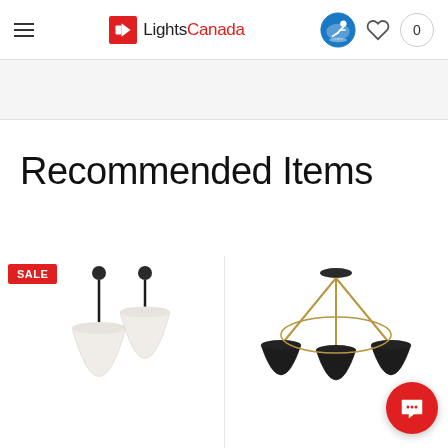LightsCanada - navigation header with hamburger menu, logo, Air Miles icon, heart icon, cart (0)
Recommended Items
SALE
[Figure (photo): Two pendant lights with white shades and black metal stems/canopy on left product card]
[Figure (photo): Multi-arm chandelier with black metal shades and brass/gold rods on right product card]